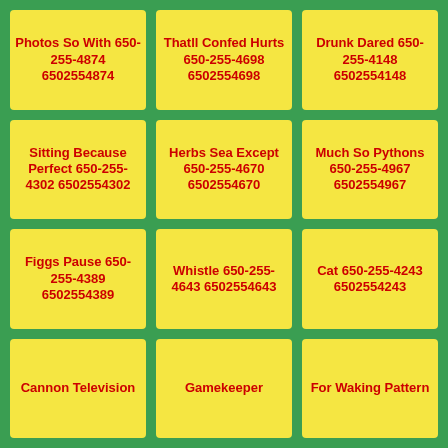Photos So With 650-255-4874 6502554874
Thatll Confed Hurts 650-255-4698 6502554698
Drunk Dared 650-255-4148 6502554148
Sitting Because Perfect 650-255-4302 6502554302
Herbs Sea Except 650-255-4670 6502554670
Much So Pythons 650-255-4967 6502554967
Figgs Pause 650-255-4389 6502554389
Whistle 650-255-4643 6502554643
Cat 650-255-4243 6502554243
Cannon Television
Gamekeeper
For Waking Pattern